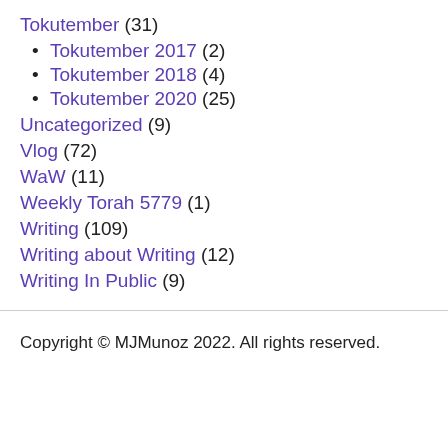Tokutember (31)
Tokutember 2017 (2)
Tokutember 2018 (4)
Tokutember 2020 (25)
Uncategorized (9)
Vlog (72)
WaW (11)
Weekly Torah 5779 (1)
Writing (109)
Writing about Writing (12)
Writing In Public (9)
Copyright © MJMunoz 2022. All rights reserved.